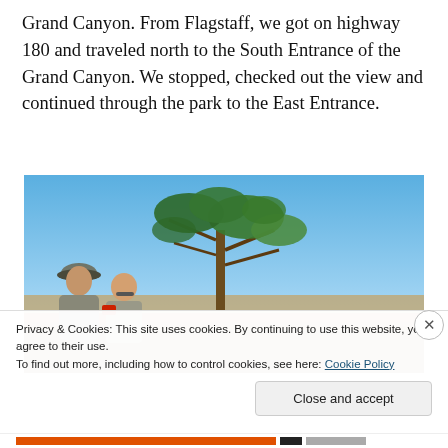Grand Canyon. From Flagstaff, we got on highway 180 and traveled north to the South Entrance of the Grand Canyon. We stopped, checked out the view and continued through the park to the East Entrance.
[Figure (photo): Photo of two people standing at the Grand Canyon rim with a pine tree and clear blue sky in the background, canyon visible in the distance.]
Privacy & Cookies: This site uses cookies. By continuing to use this website, you agree to their use.
To find out more, including how to control cookies, see here: Cookie Policy
Close and accept